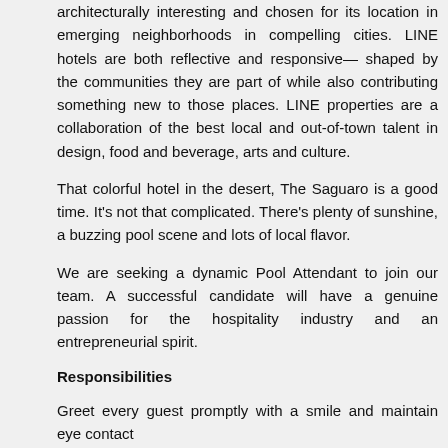architecturally interesting and chosen for its location in emerging neighborhoods in compelling cities. LINE hotels are both reflective and responsive— shaped by the communities they are part of while also contributing something new to those places. LINE properties are a collaboration of the best local and out-of-town talent in design, food and beverage, arts and culture.
That colorful hotel in the desert, The Saguaro is a good time. It's not that complicated. There's plenty of sunshine, a buzzing pool scene and lots of local flavor.
We are seeking a dynamic Pool Attendant to join our team. A successful candidate will have a genuine passion for the hospitality industry and an entrepreneurial spirit.
Responsibilities
Greet every guest promptly with a smile and maintain eye contact
Must be courteous and gracious, maintaining a professional demeanor at all times
Establish and maintain good communication and teamwork with